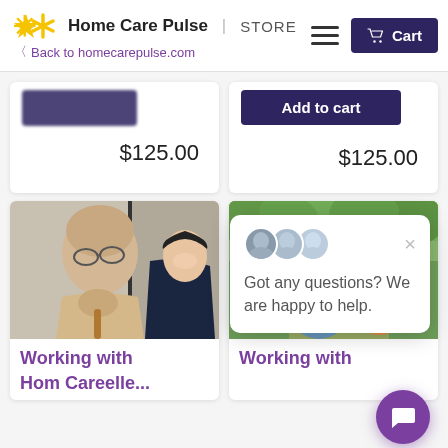Home Care Pulse | STORE — Back to homecarepulse.com — Cart
[Figure (screenshot): E-commerce product card (left) with obscured button and price $125.00]
[Figure (screenshot): E-commerce product card (right) with Add to cart button and price $125.00]
[Figure (photo): Elderly man with cane and female caregiver smiling at him]
[Figure (photo): Partial outdoor photo with people, partially obscured by chat popup]
Got any questions? We are happy to help.
Working with
Working with